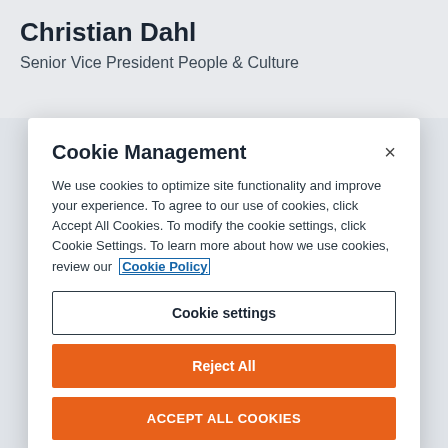Christian Dahl
Senior Vice President People & Culture
Cookie Management
We use cookies to optimize site functionality and improve your experience. To agree to our use of cookies, click Accept All Cookies. To modify the cookie settings, click Cookie Settings. To learn more about how we use cookies, review our Cookie Policy
Cookie settings
Reject All
ACCEPT ALL COOKIES